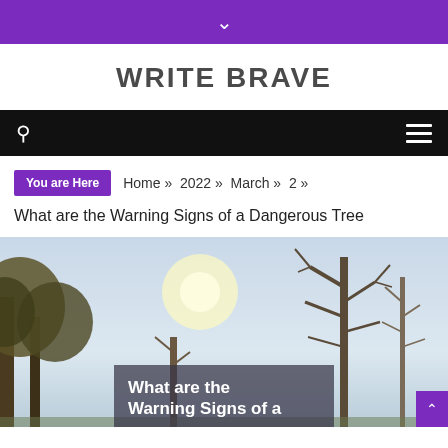▾
WRITE BRAVE
🔍  ☰
You are Here  Home » 2022 » March » 2 »
What are the Warning Signs of a Dangerous Tree
[Figure (photo): A photo of bare winter trees silhouetted against a bright sky with sun visible through the branches. An overlay text box reads 'What are the Warning Signs of a']